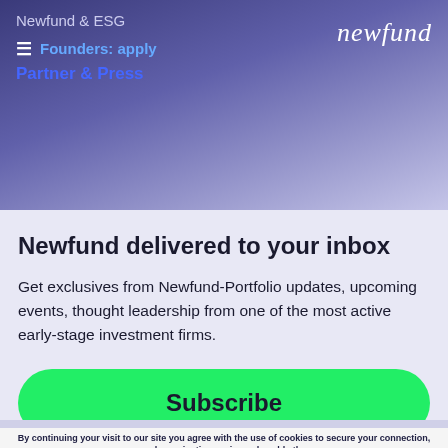Newfund & ESG
Founders: apply
Partner & Press
[Figure (logo): Newfund logo in white italic serif font on dark purple background]
Newfund delivered to your inbox
Get exclusives from Newfund-Portfolio updates, upcoming events, thought leadership from one of the most active early-stage investment firms.
Subscribe
By continuing your visit to our site you agree with the use of cookies to secure your connection, make navigation easier and enable the